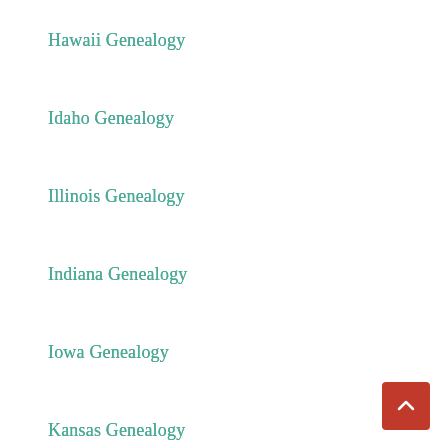Hawaii Genealogy
Idaho Genealogy
Illinois Genealogy
Indiana Genealogy
Iowa Genealogy
Kansas Genealogy
Kentucky Genealogy
Louisiana Genealogy
Maine Genealogy
Maryland Genealogy
Massachusetts Genealogy
Michigan Genealogy
Minnesota Genealogy